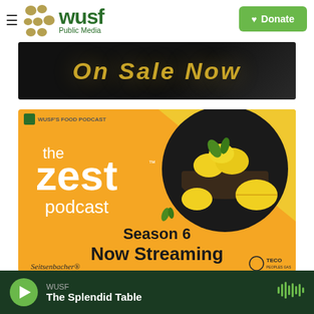WUSF Public Media | Donate
[Figure (photo): Dark background banner advertisement with text 'On Sale Now' in gold/yellow italic lettering]
[Figure (photo): The Zest Podcast promotional image - orange and yellow background with lemons in a bowl, text reading: WUSF'S FOOD PODCAST, the zest podcast, Season 6 Now Streaming, sponsored by Seitsenbacher and TECO Peoples Gas]
WUSF | The Splendid Table